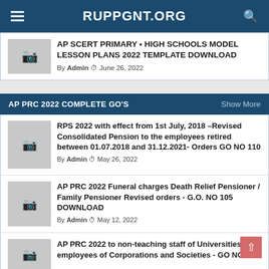RUPPGNT.ORG
AP SCERT PRIMARY • HIGH SCHOOLS MODEL LESSON PLANS 2022 TEMPLATE DOWNLOAD
By Admin June 26, 2022
AP PRC 2022 COMPLETE GO'S
Show More
RPS 2022 with effect from 1st July, 2018 –Revised Consolidated Pension to the employees retired between 01.07.2018 and 31.12.2021- Orders GO NO 110
By Admin May 26, 2022
AP PRC 2022 Funeral charges Death Relief Pensioner / Family Pensioner Revised orders - G.O. NO 105 DOWNLOAD
By Admin May 12, 2022
AP PRC 2022 to non-teaching staff of Universities, employees of Corporations and Societies - GO NO